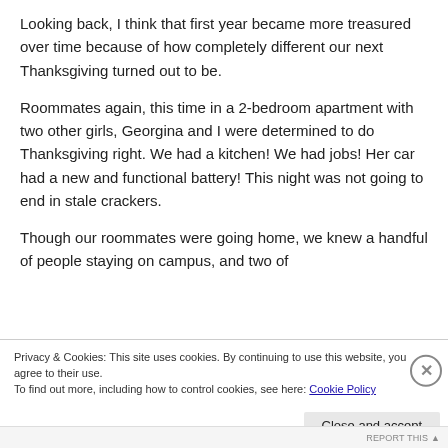Looking back, I think that first year became more treasured over time because of how completely different our next Thanksgiving turned out to be.
Roommates again, this time in a 2-bedroom apartment with two other girls, Georgina and I were determined to do Thanksgiving right. We had a kitchen! We had jobs! Her car had a new and functional battery! This night was not going to end in stale crackers.
Though our roommates were going home, we knew a handful of people staying on campus, and two of
Privacy & Cookies: This site uses cookies. By continuing to use this website, you agree to their use.
To find out more, including how to control cookies, see here: Cookie Policy
Close and accept